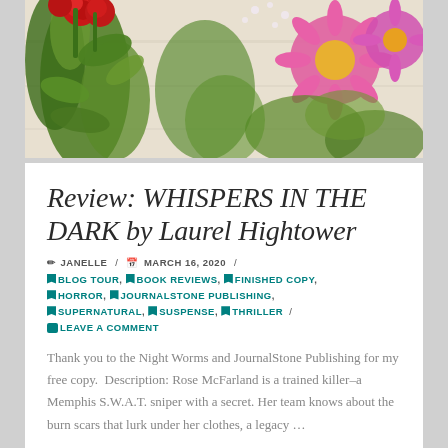[Figure (photo): Banner photo of colorful flowers including red roses on the left and pink/magenta daisy-like flowers on the right, with green foliage, on a white wooden surface background.]
Review: WHISPERS IN THE DARK by Laurel Hightower
✏ JANELLE  /  📅 MARCH 16, 2020  /  🔖 BLOG TOUR , 🔖 BOOK REVIEWS , 🔖 FINISHED COPY , 🔖 HORROR , 🔖 JOURNALSTONE PUBLISHING , 🔖 SUPERNATURAL , 🔖 SUSPENSE , 🔖 THRILLER  /  💬 LEAVE A COMMENT
Thank you to the Night Worms and JournalStone Publishing for my free copy.  Description: Rose McFarland is a trained killer–a Memphis S.W.A.T. sniper with a secret. Her team knows about the burn scars that lurk under her clothes, a legacy …